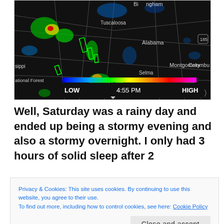[Figure (map): Weather radar map showing storm activity over Alabama region including Birmingham, Tuscaloosa, Montgomery, Selma, with color scale from LOW to HIGH and timestamp 4:55 PM]
Well, Saturday was a rainy day and ended up being a stormy evening and also a stormy overnight. I only had 3 hours of solid sleep after 2
Privacy & Cookies: This site uses cookies. By continuing to use this website, you agree to their use.
To find out more, including how to control cookies, see here: Cookie Policy
Close and accept
I soon, I decided that I was either going to stay up